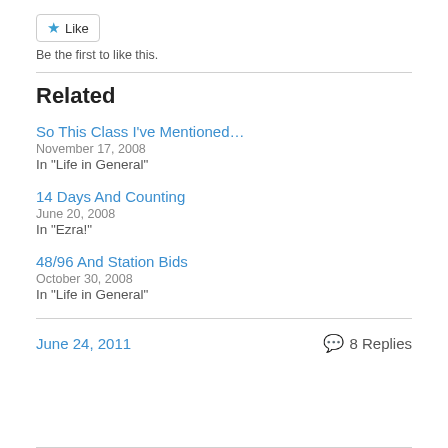Like
Be the first to like this.
Related
So This Class I've Mentioned…
November 17, 2008
In "Life in General"
14 Days And Counting
June 20, 2008
In "Ezra!"
48/96 And Station Bids
October 30, 2008
In "Life in General"
June 24, 2011
8 Replies